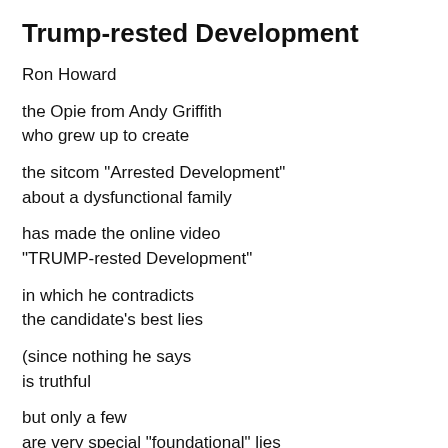Trump-rested Development
Ron Howard
the Opie from Andy Griffith
who grew up to create
the sitcom "Arrested Development"
about a dysfunctional family
has made the online video
"TRUMP-rested Development"
in which he contradicts
the candidate's best lies
(since nothing he says
is truthful
but only a few
are very special "foundational" lies